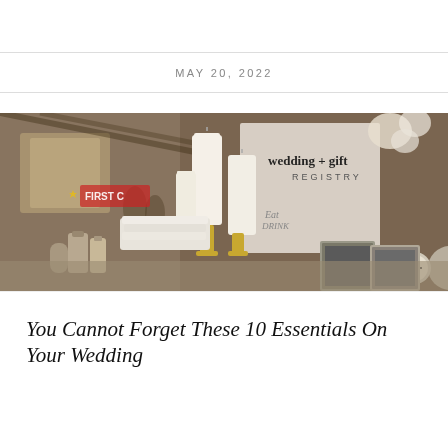MAY 20, 2022
[Figure (photo): Wedding and gift registry display table with white pillar candles on gold candelabra, folded white towels, bathroom accessories, framed photos, a clock, and a banner reading 'wedding + gift REGISTRY' in the background. Indoor venue setting.]
You Cannot Forget These 10 Essentials On Your Wedding